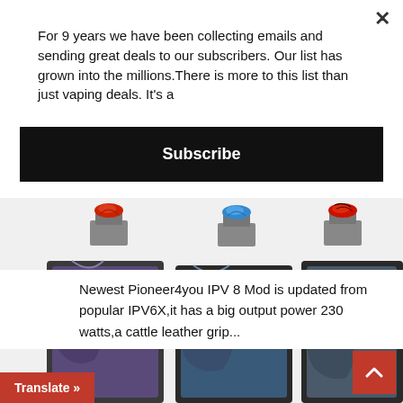For 9 years we have been collecting emails and sending great deals to our subscribers. Our list has grown into the millions.There is more to this list than just vaping deals. It's a
Subscribe
Newest Pioneer4you IPV 8 Mod is updated from popular IPV6X,it has a big output power 230 watts,a cattle leather grip...
[Figure (photo): Three Pioneer4you IPV 8 vape mods side by side, each with colorful resin drip tips (red, blue, red) on top of silver atomizers, with detailed abalone/marbled resin panel designs on the mod bodies.]
Translate »